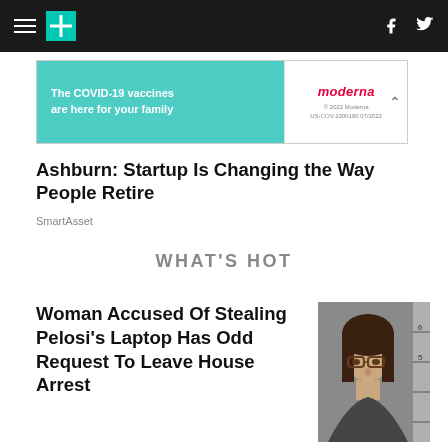HuffPost navigation bar with hamburger menu, HuffPost logo, Facebook and Twitter icons
[Figure (other): Advertisement banner: 'The COVID-19 vaccines are here for your family' with Moderna logo]
Ashburn: Startup Is Changing the Way People Retire
SmartAsset
WHAT'S HOT
Woman Accused Of Stealing Pelosi's Laptop Has Odd Request To Leave House Arrest
[Figure (photo): Mugshot photo of a young woman with dark hair and glasses against a gray background with height ruler]